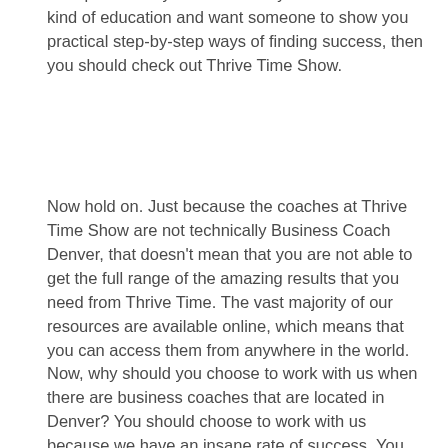entrepreneurial your dreams. If you are tired of this kind of education and want someone to show you practical step-by-step ways of finding success, then you should check out Thrive Time Show.
Now hold on. Just because the coaches at Thrive Time Show are not technically Business Coach Denver, that doesn't mean that you are not able to get the full range of the amazing results that you need from Thrive Time. The vast majority of our resources are available online, which means that you can access them from anywhere in the world. Now, why should you choose to work with us when there are business coaches that are located in Denver? You should choose to work with us because we have an insane rate of success. You should check out the thousands of reviews that we have from our dedicated clients. These reviews are on our website, on Google, and iTunes, and you will soon see that we have been able to help thousands of people find success in the business world.